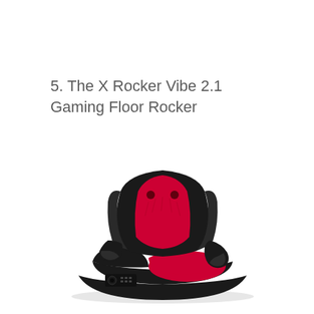5. The X Rocker Vibe 2.1 Gaming Floor Rocker
[Figure (photo): A black and red X Rocker Vibe 2.1 gaming floor rocker chair, shown from a three-quarter front angle. The chair sits low to the floor with a rocking base, red fabric center panel on the seat back and cushion, black padded armrests, and a control panel visible on the left side of the base.]